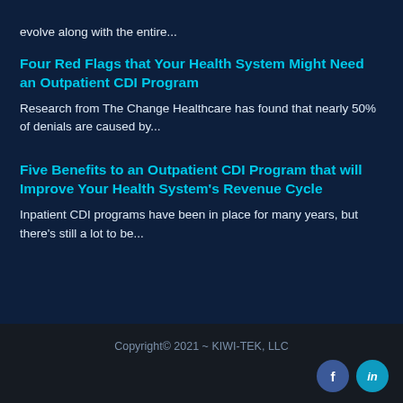evolve along with the entire...
Four Red Flags that Your Health System Might Need an Outpatient CDI Program
Research from The Change Healthcare has found that nearly 50% of denials are caused by...
Five Benefits to an Outpatient CDI Program that will Improve Your Health System's Revenue Cycle
Inpatient CDI programs have been in place for many years, but there's still a lot to be...
Copyright© 2021 ~ KIWI-TEK, LLC